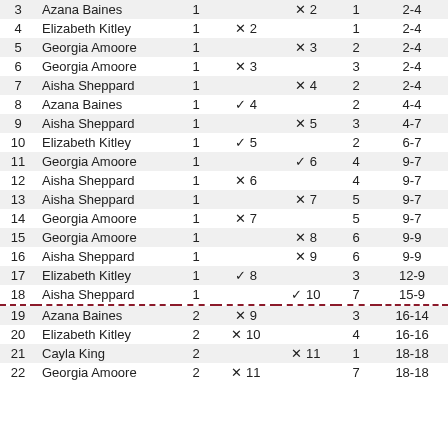| # | Name | Set | Team A | Team B | Pts | Score |
| --- | --- | --- | --- | --- | --- | --- |
| 3 | Azana Baines | 1 |  | ×2 | 1 | 2-4 |
| 4 | Elizabeth Kitley | 1 | ×2 |  | 1 | 2-4 |
| 5 | Georgia Amoore | 1 |  | ×3 | 2 | 2-4 |
| 6 | Georgia Amoore | 1 | ×3 |  | 3 | 2-4 |
| 7 | Aisha Sheppard | 1 |  | ×4 | 2 | 2-4 |
| 8 | Azana Baines | 1 | ✓4 |  | 2 | 4-4 |
| 9 | Aisha Sheppard | 1 |  | ×5 | 3 | 4-7 |
| 10 | Elizabeth Kitley | 1 | ✓5 |  | 2 | 6-7 |
| 11 | Georgia Amoore | 1 |  | ✓6 | 4 | 9-7 |
| 12 | Aisha Sheppard | 1 | ×6 |  | 4 | 9-7 |
| 13 | Aisha Sheppard | 1 |  | ×7 | 5 | 9-7 |
| 14 | Georgia Amoore | 1 | ×7 |  | 5 | 9-7 |
| 15 | Georgia Amoore | 1 |  | ×8 | 6 | 9-9 |
| 16 | Aisha Sheppard | 1 |  | ×9 | 6 | 9-9 |
| 17 | Elizabeth Kitley | 1 | ✓8 |  | 3 | 12-9 |
| 18 | Aisha Sheppard | 1 |  | ✓10 | 7 | 15-9 |
| 19 | Azana Baines | 2 | ×9 |  | 3 | 16-14 |
| 20 | Elizabeth Kitley | 2 | ×10 |  | 4 | 16-16 |
| 21 | Cayla King | 2 |  | ×11 | 1 | 18-18 |
| 22 | Georgia Amoore | 2 | ×11 |  | 7 | 18-18 |